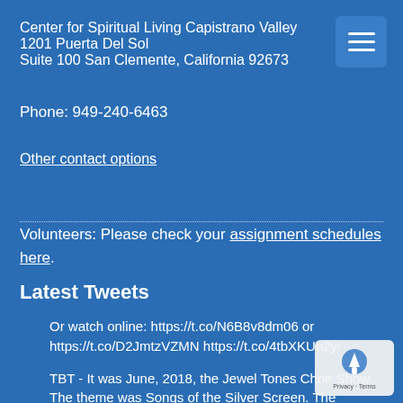Center for Spiritual Living Capistrano Valley
1201 Puerta Del Sol
Suite 100 San Clemente, California 92673
Phone: 949-240-6463
Other contact options
Volunteers: Please check your assignment schedules here.
Latest Tweets
Or watch online: https://t.co/N6B8v8dm06 or https://t.co/D2JmtzVZMN https://t.co/4tbXKUn2yi
TBT - It was June, 2018, the Jewel Tones Choir Show. The theme was Songs of the Silver Screen. The songstress was K… https://t.co/xRF3id0aNK